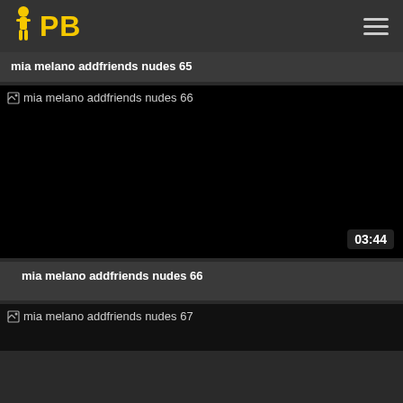PB
mia melano addfriends nudes 65
[Figure (photo): Black video thumbnail with broken image icon and text 'mia melano addfriends nudes 66', duration badge '03:44']
mia melano addfriends nudes 66
[Figure (photo): Partially visible dark video thumbnail with broken image icon and text 'mia melano addfriends nudes 67']